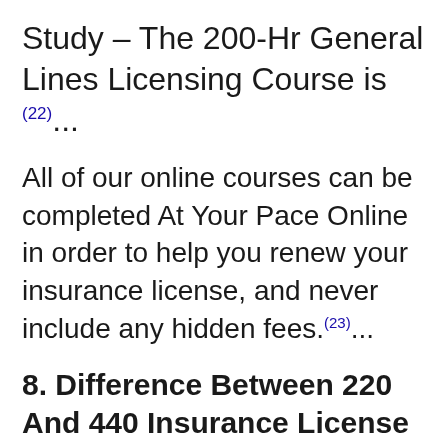Study – The 200-Hr General Lines Licensing Course is (22)...
All of our online courses can be completed At Your Pace Online in order to help you renew your insurance license, and never include any hidden fees.(23)...
8. Difference Between 220 And 440 Insurance License
140 insurance 220 440 license jobs available in Florida. requirement A resident of the state of Florida, course